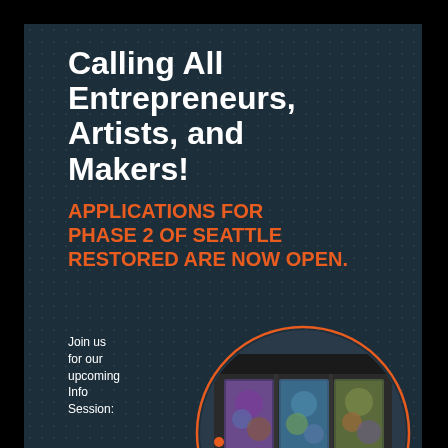[Figure (infographic): Seattle RESTORED Phase 2 promotional poster on dark teal background with dots pattern. Left side has vertical text 'Seattle RESTORED'. Main content: 'Calling All Entrepreneurs, Artists, and Makers!' headline in white, 'APPLICATIONS FOR PHASE 2 OF SEATTLE RESTORED ARE NOW OPEN.' in orange. Below: 'Join us for our upcoming Info Session: July 28th or Aug 23rd' with circular photo of a storefront with colorful art displays. Footer logos: SHUNPike, Seattle Good Business Network, Seattle Office of Economic Development.]
[Figure (infographic): Blue promotional poster showing 'She Devil of the China Seas' title text in stylized white lettering on a dark blue background, partially visible at bottom of page.]